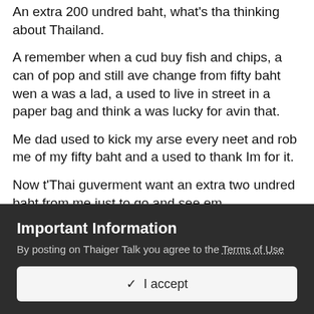An extra 200 undred baht, what's tha thinking about Thailand.
A remember when a cud buy fish and chips, a can of pop and still ave change from fifty baht wen a was a lad, a used to live in street in a paper bag and think a was lucky for avin that.
Me dad used to kick my arse every neet and rob me of my fifty baht and a used to thank Im for it.
Now t'Thai guverment want an extra two undred baht from me just to go and see em.
A don't know wot the world is cumming to these day, it
Important Information
By posting on Thaiger Talk you agree to the Terms of Use
✓  I accept